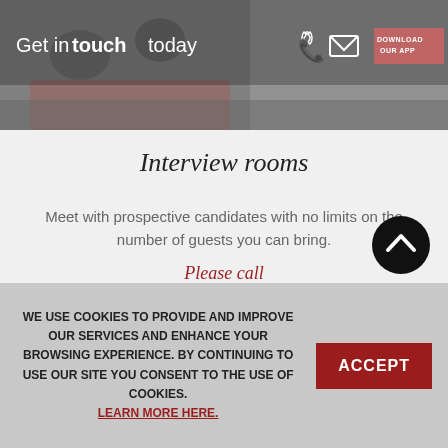[Figure (photo): Top banner with background photo of people on a couch, white text 'Get in touch today', phone and email icons, and a pink 'DOWNLOAD OUR APP' button]
Interview rooms
Meet with prospective candidates with no limits on the number of guests you can bring.
Please call
BOOK NOW
WE USE COOKIES TO PROVIDE AND IMPROVE OUR SERVICES AND ENHANCE YOUR BROWSING EXPERIENCE. BY CONTINUING TO USE OUR SITE YOU CONSENT TO THE USE OF COOKIES. LEARN MORE HERE.
ACCEPT